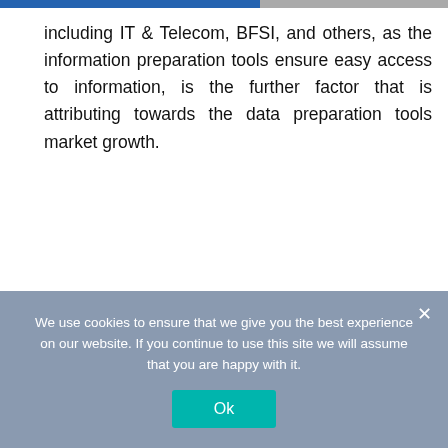including IT & Telecom, BFSI, and others, as the information preparation tools ensure easy access to information, is the further factor that is attributing towards the data preparation tools market growth.
We use cookies to ensure that we give you the best experience on our website. If you continue to use this site we will assume that you are happy with it.